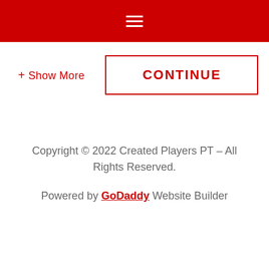☰ (hamburger menu icon)
+ Show More
CONTINUE
Copyright © 2022 Created Players PT – All Rights Reserved.
Powered by GoDaddy Website Builder